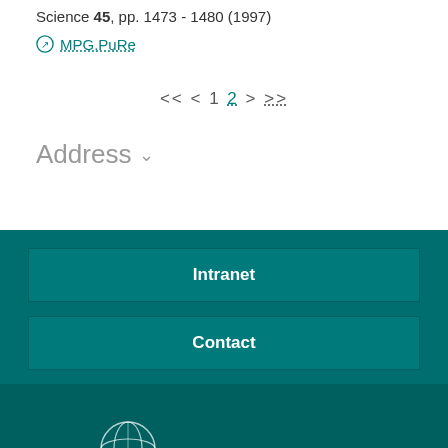Science 45, pp. 1473 - 1480 (1997)
MPG.PuRe
<< < 1 2 > >>
Address
Intranet
Contact
Max-Planck-Gesellschaft